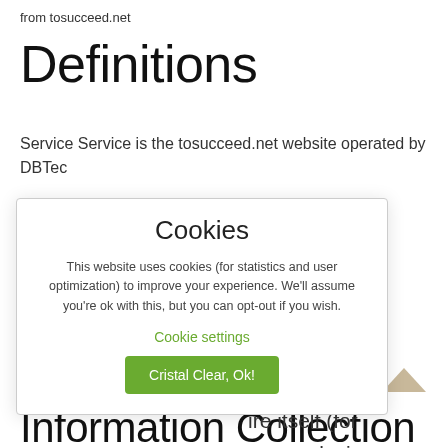from tosucceed.net
Definitions
Service Service is the tosucceed.net website operated by DBTec
ta about a
om those data
either in our
ossession).
d
ise of the
ire itself (for
n your device
[Figure (screenshot): Cookie consent modal dialog with title 'Cookies', descriptive text about cookie usage, a 'Cookie settings' link in green, and a green 'Cristal Clear, Ok!' accept button. White background with light border.]
Information Collection